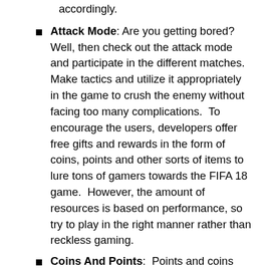accordingly.
Attack Mode: Are you getting bored?  Well, then check out the attack mode and participate in the different matches.  Make tactics and utilize it appropriately in the game to crush the enemy without facing too many complications.  To encourage the users, developers offer free gifts and rewards in the form of coins, points and other sorts of items to lure tons of gamers towards the FIFA 18 game.  However, the amount of resources is based on performance, so try to play in the right manner rather than reckless gaming.
Coins And Points:  Points and coins are the currencies of the game, which allows the players to purchase a variety of innovative stuff to move forward without facing any sorts of hurdles. To earn these resources, you need to defeat the other players in the football matches.  Perform better and